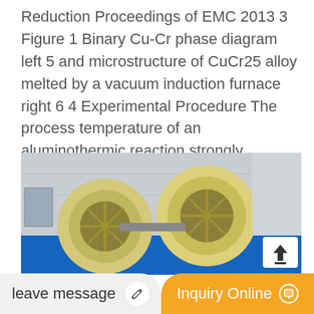Reduction Proceedings of EMC 2013 3 Figure 1 Binary Cu-Cr phase diagram left 5 and microstructure of CuCr25 alloy melted by a vacuum induction furnace right 6 4 Experimental Procedure The process temperature of an aluminothermic reaction strongly depends on the released energy
[Figure (photo): Industrial machinery with large yellow drum/wheel components mounted on a blue base, photographed outdoors beside a building. A share/upload icon button is visible in the lower right corner of the image.]
leave message
Inquiry Online